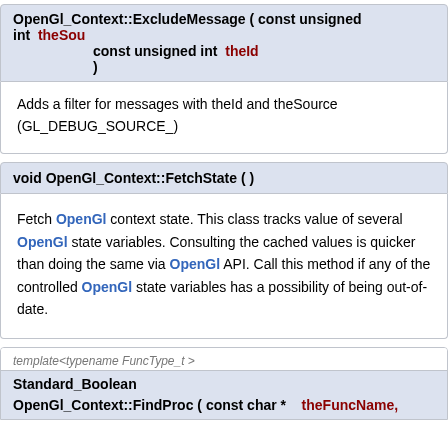OpenGl_Context::ExcludeMessage ( const unsigned int theSou
const unsigned int theId
)
Adds a filter for messages with theId and theSource (GL_DEBUG_SOURCE_)
void OpenGl_Context::FetchState ( )
Fetch OpenGL context state. This class tracks value of several OpenGL state variables. Consulting the cached values is quicker than doing the same via OpenGL API. Call this method if any of the controlled OpenGL state variables has a possibility of being out-of-date.
template<typename FuncType_t >
Standard_Boolean
OpenGl_Context::FindProc ( const char *  theFuncName,